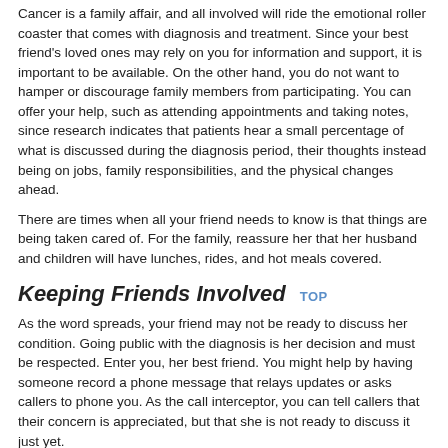Cancer is a family affair, and all involved will ride the emotional roller coaster that comes with diagnosis and treatment. Since your best friend's loved ones may rely on you for information and support, it is important to be available. On the other hand, you do not want to hamper or discourage family members from participating. You can offer your help, such as attending appointments and taking notes, since research indicates that patients hear a small percentage of what is discussed during the diagnosis period, their thoughts instead being on jobs, family responsibilities, and the physical changes ahead.
There are times when all your friend needs to know is that things are being taken care of. For family, reassure her that her husband and children will have lunches, rides, and hot meals covered.
Keeping Friends Involved
As the word spreads, your friend may not be ready to discuss her condition. Going public with the diagnosis is her decision and must be respected. Enter you, her best friend. You might help by having someone record a phone message that relays updates or asks callers to phone you. As the call interceptor, you can tell callers that their concern is appreciated, but that she is not ready to discuss it just yet.
When my best friend developed cancer, many acquaintances anguished about what to say until I explained her determination to focus on doing well. She wanted encouragement in this mindset. Some became very creative. One bombarded her with humorous cards throughout her monthly treatments. Another called and asked if she noticed a huge smoke cloud in the eastern sky — he went and lit all the church candles.
Asking Too Many Questions
In-depth questions and comments about someone's illness may seem well intended, but some are best left unsaid. To a person with cancer, it can sound insensitive, repetitious, depressing, and a constant reminder of her illness. "I appreciated everyone's concern, but I wanted to feel like a normal person and treated as such. To me, that was uplifting," explains my best friend. "I felt uncomfortable when people asked how I felt."
Let your friend guide the conversation. Sometimes good old-fashioned gossip is is